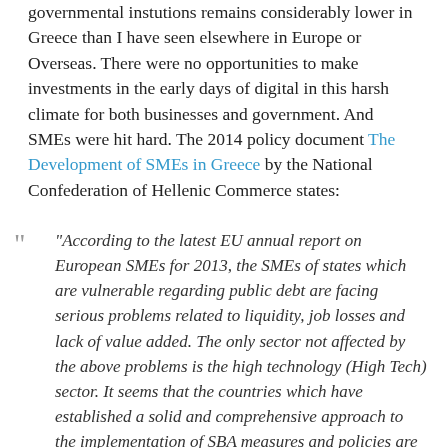governmental instutions remains considerably lower in Greece than I have seen elsewhere in Europe or Overseas. There were no opportunities to make investments in the early days of digital in this harsh climate for both businesses and government. And SMEs were hit hard. The 2014 policy document The Development of SMEs in Greece by the National Confederation of Hellenic Commerce states:
“According to the latest EU annual report on European SMEs for 2013, the SMEs of states which are vulnerable regarding public debt are facing serious problems related to liquidity, job losses and lack of value added. The only sector not affected by the above problems is the high technology (High Tech) sector. It seems that the countries which have established a solid and comprehensive approach to the implementation of SBA measures and policies are more able to support SMEs during the recession. SMEs in Greece are currently in the fifth year of the economic crisis. Despite the fact that Greek users are not shown in the data...